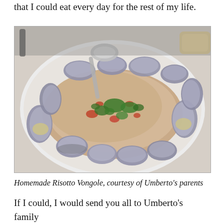that I could eat every day for the rest of my life.
[Figure (photo): A white plate with Risotto Vongole (rice with clams), garnished with fresh parsley and diced tomatoes. Many open clam shells surround the risotto. A spoon is visible at the top. The dish is presented on a white plate.]
Homemade Risotto Vongole, courtesy of Umberto's parents
If I could, I would send you all to Umberto's family